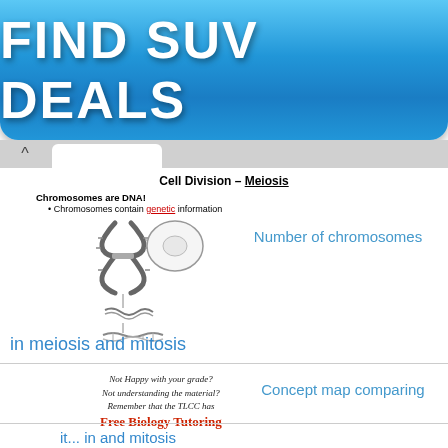[Figure (illustration): Blue button advertisement banner reading FIND SUV DEALS in bold white text on a blue gradient background]
Cell Division – Meiosis
Chromosomes are DNA!
Chromosomes contain genetic information
[Figure (illustration): Scientific diagram showing chromosome structure from chromosome to DNA double helix]
Number of chromosomes
in meiosis and mitosis
Not Happy with your grade?
Not understanding the material?
Remember that the TLCC has
Free Biology Tutoring
Concept map comparing
it... in and mitosis